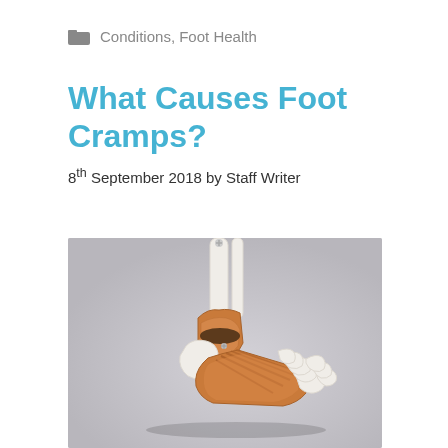Conditions, Foot Health
What Causes Foot Cramps?
8th September 2018 by Staff Writer
[Figure (photo): Anatomical model of a human foot and ankle showing bones (white) and muscles/tendons (orange/brown) on a gray background]